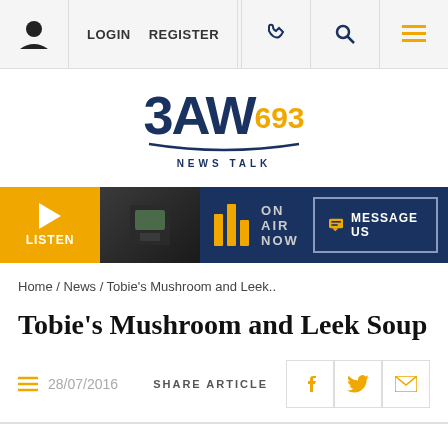LOGIN  REGISTER
[Figure (logo): 3AW 693 News Talk radio station logo with navy blue text and gold 693 numeral and underline swoosh]
[Figure (infographic): Radio player bar with Listen button, on-air thumbnail, bars icon, ON AIR NOW text, and MESSAGE US button]
Home / News / Tobie’s Mushroom and Leek..
Tobie’s Mushroom and Leek Soup
28/07/2016   SHARE ARTICLE